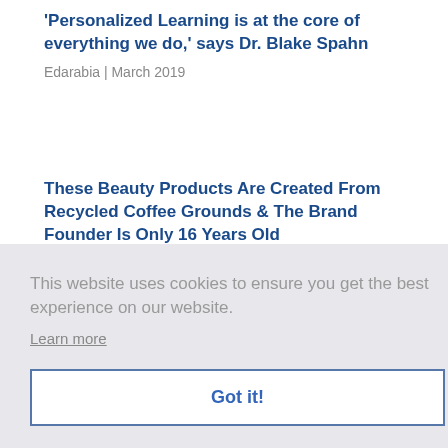'Personalized Learning is at the core of everything we do,' says Dr. Blake Spahn
Edarabia | March 2019
These Beauty Products Are Created From Recycled Coffee Grounds & The Brand Founder Is Only 16 Years Old
Bustle | March 11, 2019
16-Year-Old Creates Beauty Products From Recycled
This website uses cookies to ensure you get the best experience on our website.
Learn more
Got it!